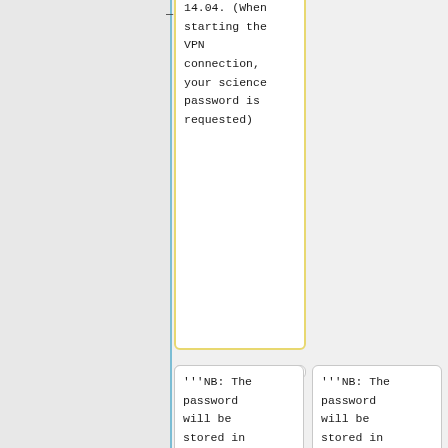14.04. (When starting the VPN connection, your science password is requested)
'''NB: The password will be stored in plain text in the file mentioned above!'''
'''NB: The password will be stored in plain text in the file mentioned above!'''
[/en]
[/en]
== [Installatie
== [Installatie